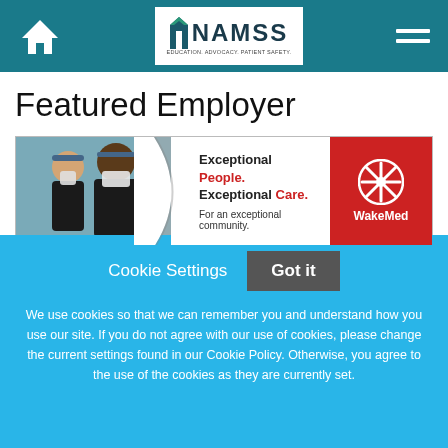NAMSS — EDUCATION. ADVOCACY. PATIENT SAFETY. (Navigation header with home and menu icons)
Featured Employer
[Figure (illustration): WakeMed featured employer banner showing two masked healthcare workers, with text 'Exceptional People. Exceptional Care. For an exceptional community.' and WakeMed logo on red background.]
About Us
Cookie Settings   Got it
We use cookies so that we can remember you and understand how you use our site. If you do not agree with our use of cookies, please change the current settings found in our Cookie Policy. Otherwise, you agree to the use of the cookies as they are currently set.